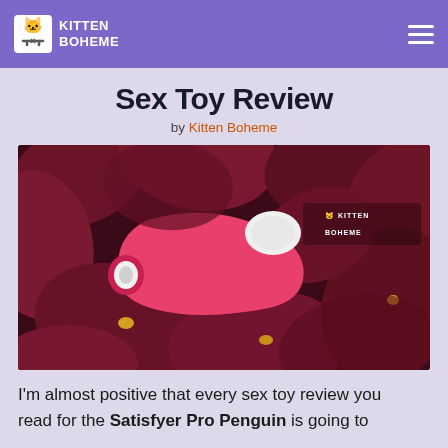KITTEN BOHEME
Sex Toy Review
by Kitten Boheme
[Figure (photo): A pink Satisfyer Pro Penguin sex toy resting on dark red/maroon orchid flowers, with the Kitten Boheme logo watermark in the top right corner of the photo.]
I'm almost positive that every sex toy review you read for the Satisfyer Pro Penguin is going to